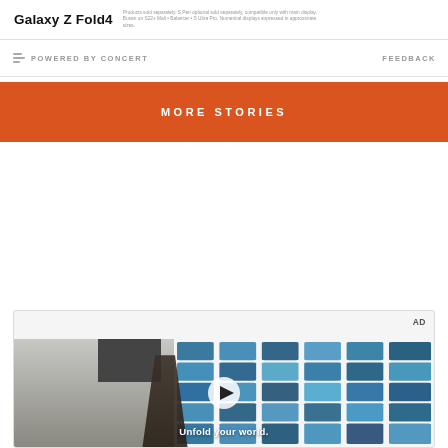[Figure (screenshot): Samsung Galaxy Z Fold4 advertisement banner at top of page with product name and fine print text]
POWERED BY CONCERT
FEEDBACK
MORE STORIES
[Figure (screenshot): Video advertisement thumbnail showing a young man standing in front of a tiled blue wall inside a store. A play button is overlaid in the center. Text reads 'Unfold your world.' at the bottom. AD label in top right corner.]